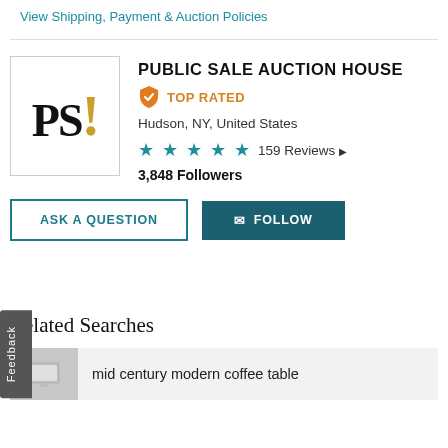View Shipping, Payment & Auction Policies
[Figure (logo): PS! logo with gold exclamation mark on white background with border]
PUBLIC SALE AUCTION HOUSE
TOP RATED
Hudson, NY, United States
4.5 stars  159 Reviews
3,848 Followers
ASK A QUESTION
FOLLOW
Feedback
Related Searches
mid century modern coffee table